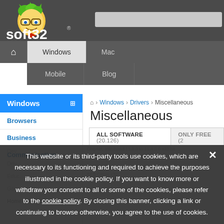[Figure (logo): Soft32 website logo with cartoon mascot (character with green hair and glasses) and 'soft32' text with registered trademark symbol]
Windows | Mac | Mobile | Blog navigation menu
Windows
Browsers
Business
Communication
🏠 > Windows > Drivers > Miscellaneous
Miscellaneous
ALL SOFTWARE (20.126)   ONLY FREE (2...
This website or its third-party tools use cookies, which are necessary to its functioning and required to achieve the purposes illustrated in the cookie policy. If you want to know more or withdraw your consent to all or some of the cookies, please refer to the cookie policy. By closing this banner, clicking a link or continuing to browse otherwise, you agree to the use of cookies.